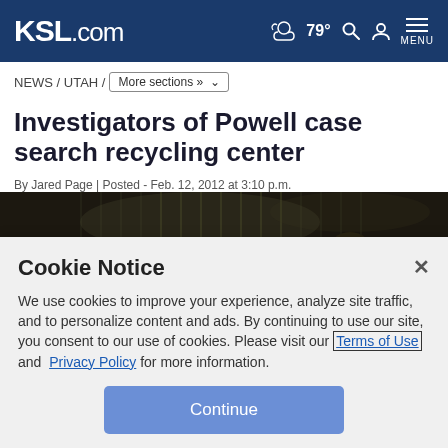KSL.com — 79° MENU
NEWS / UTAH / More sections »
Investigators of Powell case search recycling center
By Jared Page | Posted - Feb. 12, 2012 at 3:10 p.m.
[Figure (photo): Dark news photo showing people from behind, appears to be a press conference or investigation scene]
Cookie Notice
We use cookies to improve your experience, analyze site traffic, and to personalize content and ads. By continuing to use our site, you consent to our use of cookies. Please visit our Terms of Use and Privacy Policy for more information.
Continue